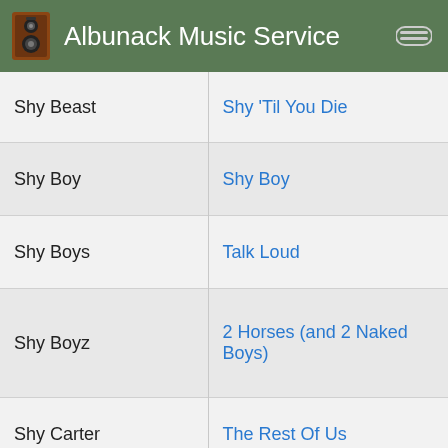Albunack Music Service
| Artist | Album |
| --- | --- |
| Shy Beast | Shy 'Til You Die |
| Shy Boy | Shy Boy |
| Shy Boys | Talk Loud |
| Shy Boyz | 2 Horses (and 2 Naked Boys) |
| Shy Carter | The Rest Of Us |
| Shy Girls | Bird on the Wing |
| Shy Glizzy | FTO |
| Shy Glizzy | Fxck Rap |